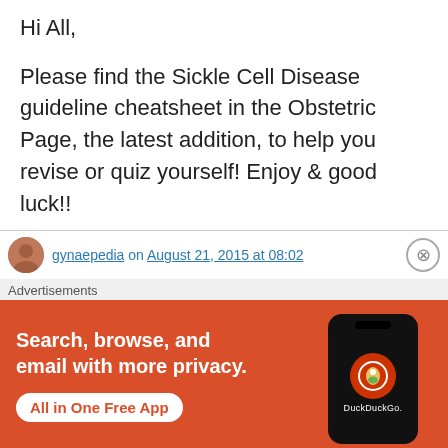Hi All,
Please find the Sickle Cell Disease guideline cheatsheet in the Obstetric Page, the latest addition, to help you revise or quiz yourself! Enjoy & good luck!!
GEM team
★ Like
↳ Reply
gynaepedia on August 21, 2015 at 08:02
Advertisements
[Figure (screenshot): DuckDuckGo advertisement banner with text 'Search, browse, and email with more privacy. All in One Free App' and a phone mockup with DuckDuckGo logo]